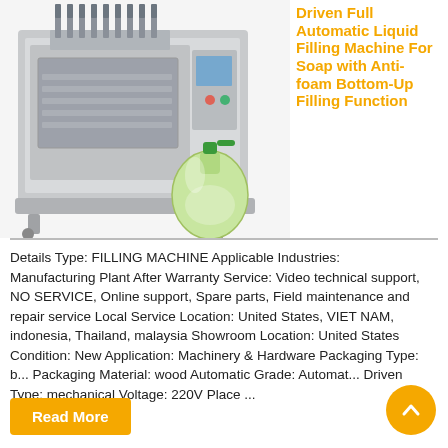[Figure (photo): Left portion: photo of a large industrial stainless-steel liquid filling machine with multiple nozzles. Right lower portion: illustration of a green pump soap/lotion bottle.]
Driven Full Automatic Liquid Filling Machine For Soap with Anti-foam Bottom-Up Filling Function
Details Type: FILLING MACHINE Applicable Industries: Manufacturing Plant After Warranty Service: Video technical support, NO SERVICE, Online support, Spare parts, Field maintenance and repair service Local Service Location: United States, VIET NAM, indonesia, Thailand, malaysia Showroom Location: United States Condition: New Application: Machinery & Hardware Packaging Type: b... Packaging Material: wood Automatic Grade: Automat... Driven Type: mechanical Voltage: 220V Place ...
Read More